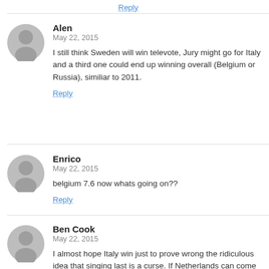Reply
Alen
May 22, 2015
I still think Sweden will win televote, Jury might go for Italy and a third one could end up winning overall (Belgium or Russia), similiar to 2011.
Reply
Enrico
May 22, 2015
belgium 7.6 now whats going on??
Reply
Ben Cook
May 22, 2015
I almost hope Italy win just to prove wrong the ridiculous idea that singing last is a curse. If Netherlands can come 2nd from 24th, I see no reason why you can't win from 25th or 27th.